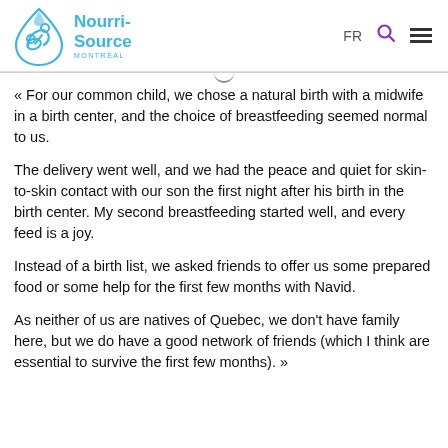NourriSource Montréal
« For our common child, we chose a natural birth with a midwife in a birth center, and the choice of breastfeeding seemed normal to us.
The delivery went well, and we had the peace and quiet for skin-to-skin contact with our son the first night after his birth in the birth center. My second breastfeeding started well, and every feed is a joy.
Instead of a birth list, we asked friends to offer us some prepared food or some help for the first few months with Navid.
As neither of us are natives of Quebec, we don't have family here, but we do have a good network of friends (which I think are essential to survive the first few months). »